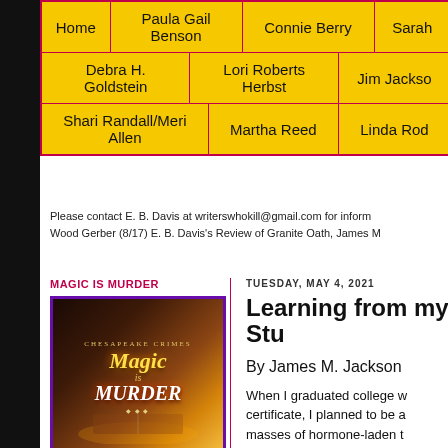| Home | Paula Gail Benson | Connie Berry | Sarah... |
| --- | --- | --- | --- |
| Debra H. Goldstein | Lori Roberts Herbst | Jim Jackso... |
| Shari Randall/Meri Allen | Martha Reed | Linda Rod... |
Please contact E. B. Davis at writerswhokill@gmail.com for inform... Wood Gerber (8/17) E. B. Davis's Review of Granite Oath, James M...
MAGIC IS MURDER
[Figure (illustration): Book cover for Chesapeake Crimes: Magic is Murder anthology]
TUESDAY, MAY 4, 2021
Learning from my Stu...
By James M. Jackson
When I graduated college w... certificate, I planned to be a... masses of hormone-laden t... and tri... and calculu...